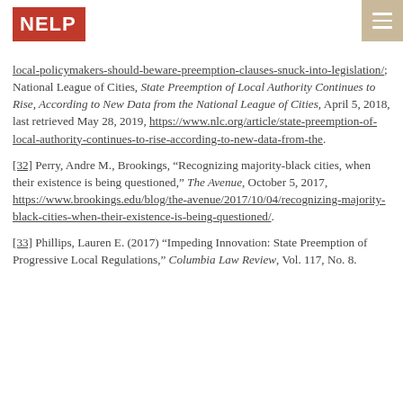NELP logo and navigation
local-policymakers-should-beware-preemption-clauses-snuck-into-legislation/; National League of Cities, State Preemption of Local Authority Continues to Rise, According to New Data from the National League of Cities, April 5, 2018, last retrieved May 28, 2019, https://www.nlc.org/article/state-preemption-of-local-authority-continues-to-rise-according-to-new-data-from-the.
[32] Perry, Andre M., Brookings, "Recognizing majority-black cities, when their existence is being questioned," The Avenue, October 5, 2017, https://www.brookings.edu/blog/the-avenue/2017/10/04/recognizing-majority-black-cities-when-their-existence-is-being-questioned/.
[33] Phillips, Lauren E. (2017) “Impeding Innovation: State Preemption of Progressive Local Regulations,” Columbia Law Review, Vol. 117, No. 8.